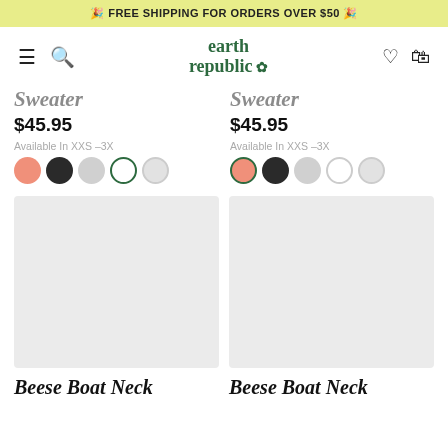🎉 FREE SHIPPING FOR ORDERS OVER $50 🎉
[Figure (logo): Earth Republic logo with flower icon, green serif text]
Sweater (partial, cropped)
$45.95
Available In XXS -3X
Sweater (partial, cropped)
$45.95
Available In XXS -3X
[Figure (photo): Product image placeholder - light gray rectangle]
[Figure (photo): Product image placeholder - light gray rectangle]
Beese Boat Neck
Beese Boat Neck